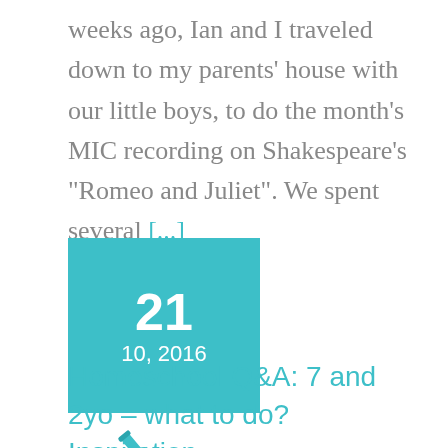weeks ago, Ian and I traveled down to my parents' house with our little boys, to do the month's MIC recording on Shakespeare's "Romeo and Juliet". We spent several [...]
21
10, 2016
Homeschool Q&A: 7 and 2yo – what to do? Inspiration